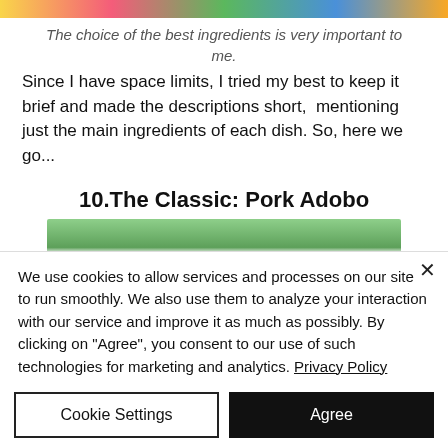[Figure (photo): Colorful flower/food image at top of page]
The choice of the best ingredients is very important to me.
Since I have space limits, I tried my best to keep it brief and made the descriptions short,  mentioning just the main ingredients of each dish. So, here we go...
10.The Classic: Pork Adobo
[Figure (photo): Photo of Pork Adobo dish with rice and greens on a plate]
We use cookies to allow services and processes on our site to run smoothly. We also use them to analyze your interaction with our service and improve it as much as possibly. By clicking on "Agree", you consent to our use of such technologies for marketing and analytics. Privacy Policy
Cookie Settings | Agree